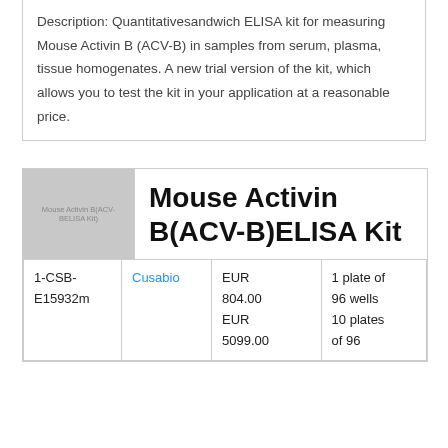Description: Quantitativesandwich ELISA kit for measuring Mouse Activin B (ACV-B) in samples from serum, plasma, tissue homogenates. A new trial version of the kit, which allows you to test the kit in your application at a reasonable price.
[Figure (photo): Product image placeholder for Mouse Activin B (ACV-B) ELISA Kit, grey rectangle with label text]
Mouse Activin B(ACV-B)ELISA Kit
|  |  |  |  |
| --- | --- | --- | --- |
| 1-CSB-E15932m | Cusabio | EUR 804.00
EUR 5099.00 | 1 plate of 96 wells
10 plates of 96 |